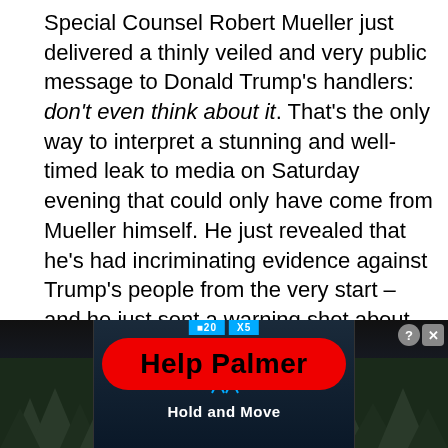Special Counsel Robert Mueller just delivered a thinly veiled and very public message to Donald Trump's handlers: don't even think about it. That's the only way to interpret a stunning and well-timed leak to media on Saturday evening that could only have come from Mueller himself. He just revealed that he's had incriminating evidence against Trump's people from the very start – and he just sent a warning shot about what'll happen if Trump tries to fire him.
[Figure (other): Red rounded button overlay with text 'Help Palmer' in bold black text on red background]
All along ... sent
[Figure (screenshot): Advertisement overlay at bottom of page showing a dark background with trees on left and right sides, a central panel with a blue figure icon and 'Hold and Move' text in white, a cyan bar labeled '20 X5', and close/help buttons in top right corner]